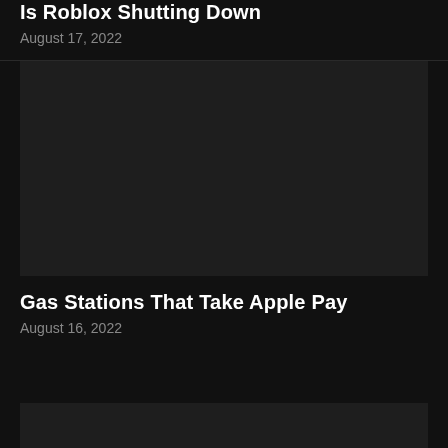Is Roblox Shutting Down
August 17, 2022
[Figure (photo): Dark placeholder image for article about Roblox shutting down]
Gas Stations That Take Apple Pay
August 16, 2022
[Figure (photo): Dark placeholder image for article about gas stations that take Apple Pay]